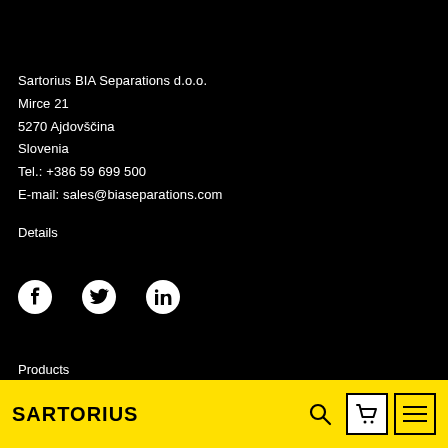Sartorius BIA Separations d.o.o.
Mirce 21
5270 Ajdovščina
Slovenia
Tel.: +386 59 699 500
E-mail: sales@biaseparations.com
Details
[Figure (other): Social media icons: Facebook, Twitter, LinkedIn]
Products
[Figure (logo): Sartorius logo in black on yellow bar, with search icon, cart icon, and menu icon on the right]